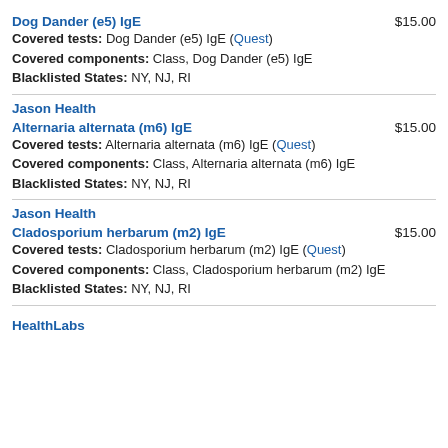Dog Dander (e5) IgE   $15.00
Covered tests: Dog Dander (e5) IgE (Quest)
Covered components: Class, Dog Dander (e5) IgE
Blacklisted States: NY, NJ, RI
Jason Health
Alternaria alternata (m6) IgE   $15.00
Covered tests: Alternaria alternata (m6) IgE (Quest)
Covered components: Class, Alternaria alternata (m6) IgE
Blacklisted States: NY, NJ, RI
Jason Health
Cladosporium herbarum (m2) IgE   $15.00
Covered tests: Cladosporium herbarum (m2) IgE (Quest)
Covered components: Class, Cladosporium herbarum (m2) IgE
Blacklisted States: NY, NJ, RI
HealthLabs